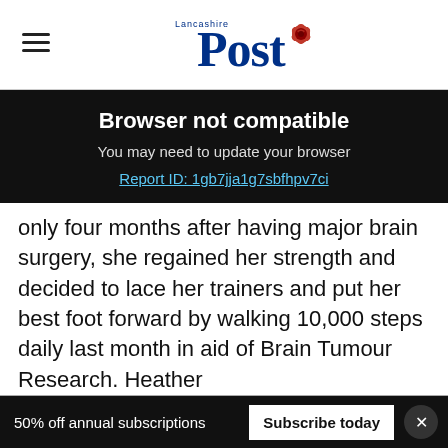Lancashire Post
Browser not compatible
You may need to update your browser
Report ID: 1gb7jja1g7sbfhpv7ci
only four months after having major brain surgery, she regained her strength and decided to lace her trainers and put her best foot forward by walking 10,000 steps daily last month in aid of Brain Tumour Research. Heather has so far raised an impressive £5,000 and intends to continue raising awareness of the
50% off annual subscriptions   Subscribe today